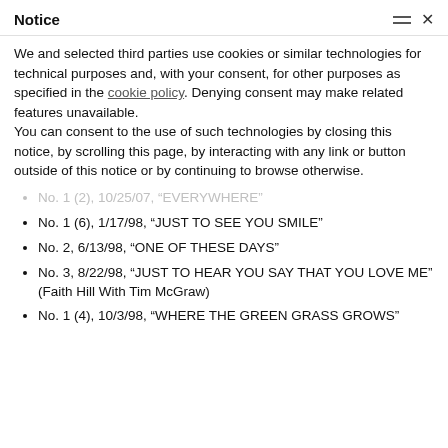Notice
We and selected third parties use cookies or similar technologies for technical purposes and, with your consent, for other purposes as specified in the cookie policy. Denying consent may make related features unavailable.
You can consent to the use of such technologies by closing this notice, by scrolling this page, by interacting with any link or button outside of this notice or by continuing to browse otherwise.
No. 1 (2), 10/25/07, “EVERYWHERE”
No. 1 (6), 1/17/98, “JUST TO SEE YOU SMILE”
No. 2, 6/13/98, “ONE OF THESE DAYS”
No. 3, 8/22/98, “JUST TO HEAR YOU SAY THAT YOU LOVE ME” (Faith Hill With Tim McGraw)
No. 1 (4), 10/3/98, “WHERE THE GREEN GRASS GROWS”